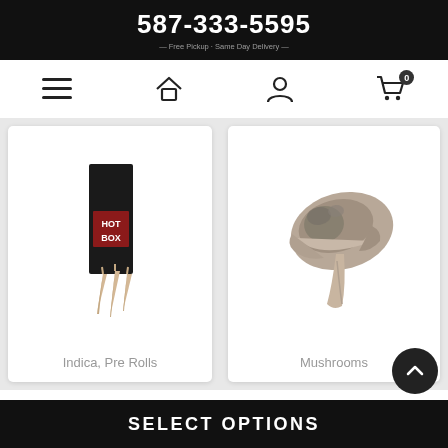587-333-5595
[Figure (screenshot): Navigation bar with hamburger menu, home icon, user icon, and shopping cart with badge showing 0]
[Figure (photo): Hot Box pre-roll product: black rectangular box labeled HOT BOX with three pre-rolled cones in front]
Indica, Pre Rolls
[Figure (photo): Mushrooms: dried psilocybin mushroom on white background]
Mushrooms
SELECT OPTIONS